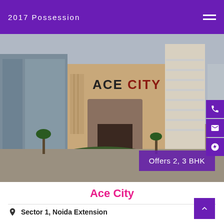2017 Possession
[Figure (photo): Exterior photo of Ace City residential complex showing the building entrance with 'ACE CITY' signage, tall residential towers in background, and landscaped roundabout in foreground]
Offers 2, 3 BHK
Ace City
Sector 1, Noida Extension
1090 sqft to 1530 sqft
Starting Rent 13,000/